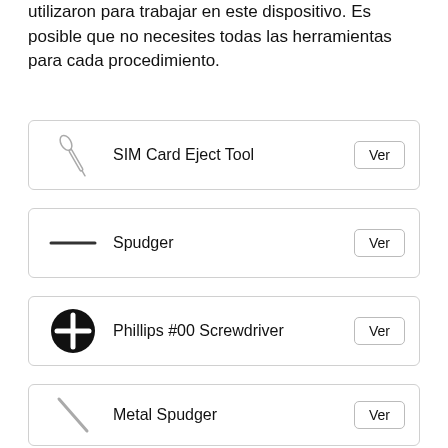Estas son algunas de las herramientas comunes que se utilizaron para trabajar en este dispositivo. Es posible que no necesites todas las herramientas para cada procedimiento.
SIM Card Eject Tool — Ver
Spudger — Ver
Phillips #00 Screwdriver — Ver
Metal Spudger — Ver